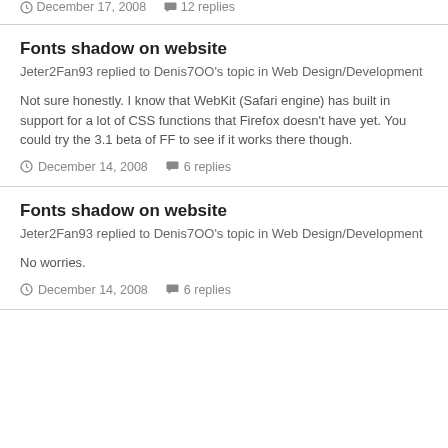December 17, 2008  12 replies
Fonts shadow on website
Jeter2Fan93 replied to Denis7OO's topic in Web Design/Development
Not sure honestly. I know that WebKit (Safari engine) has built in support for a lot of CSS functions that Firefox doesn't have yet. You could try the 3.1 beta of FF to see if it works there though.
December 14, 2008  6 replies
Fonts shadow on website
Jeter2Fan93 replied to Denis7OO's topic in Web Design/Development
No worries.
December 14, 2008  6 replies